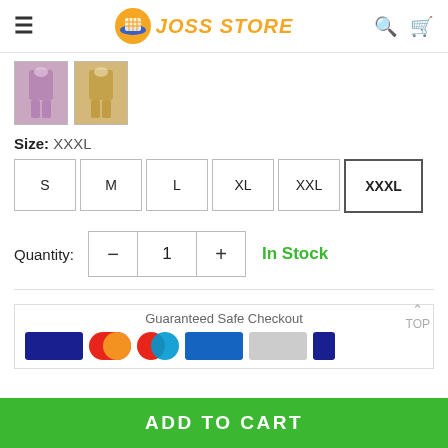JOSS STORE
[Figure (photo): Two product thumbnail images of dresses]
Size: XXXL
S
M
L
XL
XXL
XXXL (selected)
Quantity: - 1 + In Stock
Guaranteed Safe Checkout
[Figure (other): Payment icons: Visa, Mastercard, PayPal, etc.]
TOP
ADD TO CART